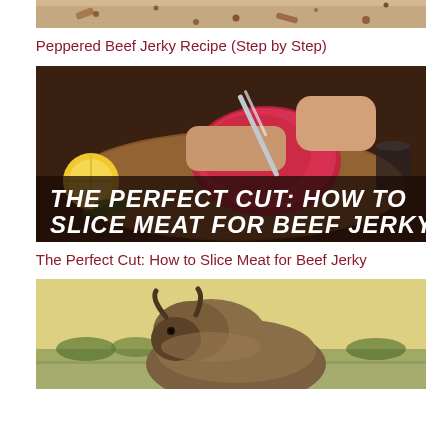[Figure (photo): Top portion of a peppered beef jerky image, showing spices and dried meat on a surface, cropped at top]
Peppered Beef Jerky Recipe (Step by Step)
[Figure (photo): Photo of raw beef being sliced on a cutting board with a knife, lemon and herbs visible, with bold white text overlay reading 'THE PERFECT CUT: HOW TO SLICE MEAT FOR BEEF JERKY']
The Perfect Cut: How to Slice Meat for Beef Jerky
[Figure (photo): Photo of a bison/buffalo standing in a field with trees and sky in the background, image cropped at bottom]